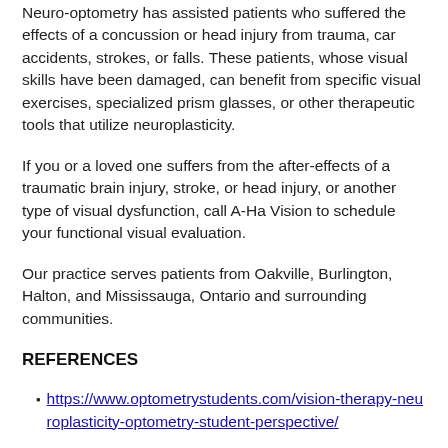Neuro-optometry has assisted patients who suffered the effects of a concussion or head injury from trauma, car accidents, strokes, or falls. These patients, whose visual skills have been damaged, can benefit from specific visual exercises, specialized prism glasses, or other therapeutic tools that utilize neuroplasticity.
If you or a loved one suffers from the after-effects of a traumatic brain injury, stroke, or head injury, or another type of visual dysfunction, call A-Ha Vision to schedule your functional visual evaluation.
Our practice serves patients from Oakville, Burlington, Halton, and Mississauga, Ontario and surrounding communities.
REFERENCES
https://www.optometrystudents.com/vision-therapy-neuroplasticity-optometry-student-perspective/